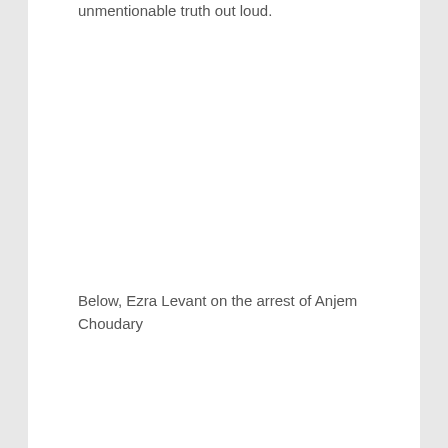unmentionable truth out loud.
Below, Ezra Levant on the arrest of Anjem Choudary